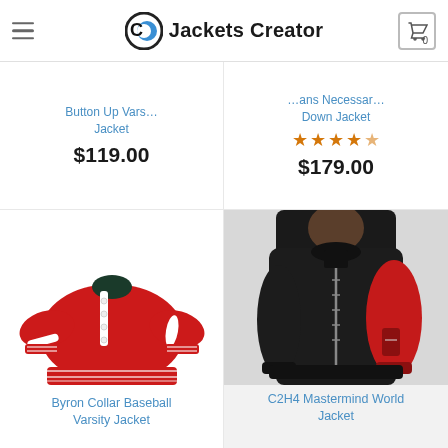Jackets Creator
Button Up Varsity … Jacket — $119.00
… Jeans Necessary Down Jacket — ★★★★½ — $179.00
[Figure (photo): Red and white Byron Collar Baseball Varsity Jacket on white background]
Byron Collar Baseball Varsity Jacket
[Figure (photo): Man wearing C2H4 Mastermind World Jacket, black bomber with red sleeve]
C2H4 Mastermind World Jacket